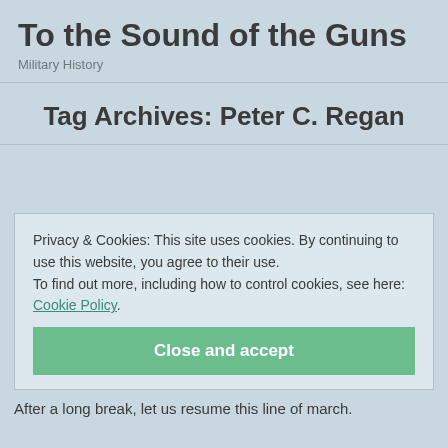To the Sound of the Guns
Military History
Tag Archives: Peter C. Regan
Privacy & Cookies: This site uses cookies. By continuing to use this website, you agree to their use.
To find out more, including how to control cookies, see here: Cookie Policy.
Close and accept
After a long break, let us resume this line of march.